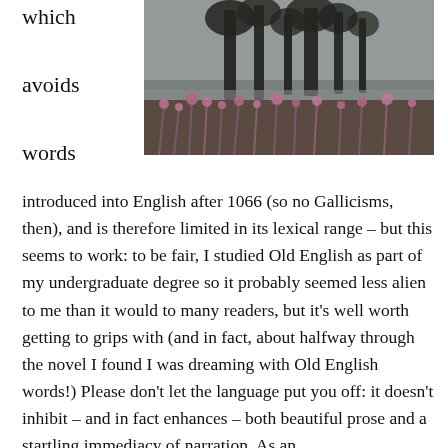which avoids words
[Figure (photo): A misty, moody landscape with dark trees obscured by fog and pink/purple wildflowers in the foreground.]
introduced into English after 1066 (so no Gallicisms, then), and is therefore limited in its lexical range – but this seems to work: to be fair, I studied Old English as part of my undergraduate degree so it probably seemed less alien to me than it would to many readers, but it's well worth getting to grips with (and in fact, about halfway through the novel I found I was dreaming with Old English words!) Please don't let the language put you off: it doesn't inhibit – and in fact enhances – both beautiful prose and a startling immediacy of narration. As an